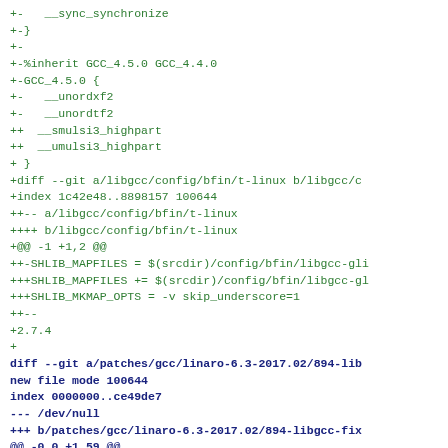+-   __sync_synchronize
+-}
+-
+-%inherit GCC_4.5.0 GCC_4.4.0
+-GCC_4.5.0 {
+-   __unordxf2
+-   __unordtf2
++  __smulsi3_highpart
++  __umulsi3_highpart
+ }
+diff --git a/libgcc/config/bfin/t-linux b/libgcc/c
+index 1c42e48..8898157 100644
++-- a/libgcc/config/bfin/t-linux
++++ b/libgcc/config/bfin/t-linux
+@@ -1 +1,2 @@
++-SHLIB_MAPFILES = $(srcdir)/config/bfin/libgcc-gli
+++SHLIB_MAPFILES += $(srcdir)/config/bfin/libgcc-gl
+++SHLIB_MKMAP_OPTS = -v skip_underscore=1
++--
+2.7.4
+

diff --git a/patches/gcc/linaro-6.3-2017.02/894-lib
new file mode 100644
index 0000000..ce49de7
--- /dev/null
+++ b/patches/gcc/linaro-6.3-2017.02/894-libgcc-fix
@@ -0,0 +1,59 @@
+From 9d9f97ca5d1ceba66677bf406c9b31027dc1f22e Mon
+From: Waldemar Brodkorb <wbx@openadk.org>